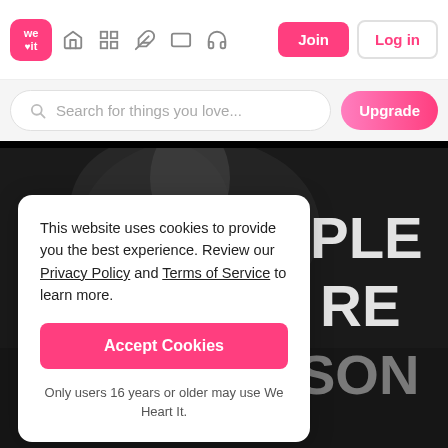we♥it | Navigation bar with icons: home, grid, feather, rectangle, headphones | Join | Log in
Search for things you love...
Upgrade
[Figure (photo): Dark grayscale background image with silhouette figures and white bold text letters visible on the right: PLE, RE, SON]
This website uses cookies to provide you the best experience. Review our Privacy Policy and Terms of Service to learn more.
Accept Cookies
Only users 16 years or older may use We Heart It.